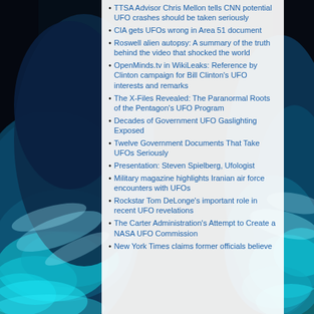[Figure (photo): Earth from space background image with deep blue/teal colors and cloud formations visible on left and right sides of the page]
TTSA Advisor Chris Mellon tells CNN potential UFO crashes should be taken seriously
CIA gets UFOs wrong in Area 51 document
Roswell alien autopsy: A summary of the truth behind the video that shocked the world
OpenMinds.tv in WikiLeaks: Reference by Clinton campaign for Bill Clinton's UFO interests and remarks
The X-Files Revealed: The Paranormal Roots of the Pentagon's UFO Program
Decades of Government UFO Gaslighting Exposed
Twelve Government Documents That Take UFOs Seriously
Presentation: Steven Spielberg, Ufologist
Military magazine highlights Iranian air force encounters with UFOs
Rockstar Tom DeLonge's important role in recent UFO revelations
The Carter Administration's Attempt to Create a NASA UFO Commission
New York Times claims former officials believe